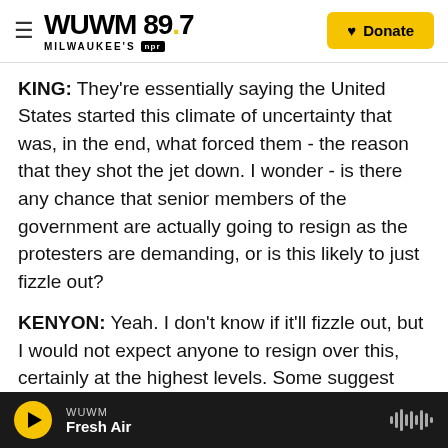WUWM 89.7 Milwaukee's NPR — Donate
KING: They're essentially saying the United States started this climate of uncertainty that was, in the end, what forced them - the reason that they shot the jet down. I wonder - is there any chance that senior members of the government are actually going to resign as the protesters are demanding, or is this likely to just fizzle out?
KENYON: Yeah. I don't know if it'll fizzle out, but I would not expect anyone to resign over this, certainly at the highest levels. Some suggest Tehran may step back and move back into a previous mode where proxy groups did the attacks
WUWM — Fresh Air